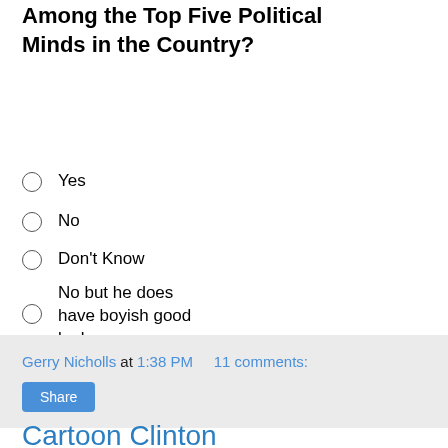Among the Top Five Political Minds in the Country?
Yes
No
Don't Know
No but he does have boyish good looks
pollcode.com free polls
Gerry Nicholls at 1:38 PM   11 comments:
Share
Cartoon Clinton